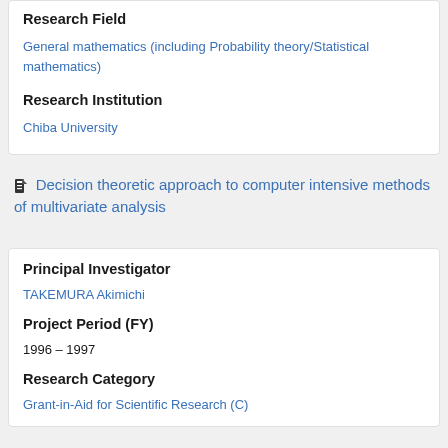Research Field
General mathematics (including Probability theory/Statistical mathematics)
Research Institution
Chiba University
Decision theoretic approach to computer intensive methods of multivariate analysis
Principal Investigator
TAKEMURA Akimichi
Project Period (FY)
1996 – 1997
Research Category
Grant-in-Aid for Scientific Research (C)